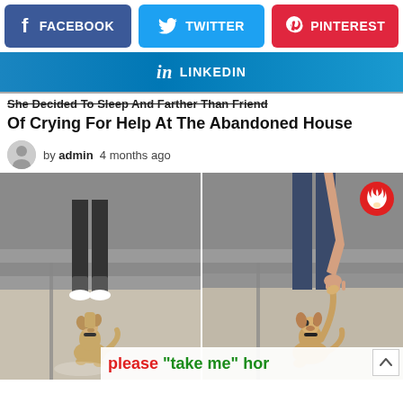[Figure (infographic): Social media share buttons: Facebook (blue), Twitter (blue), Pinterest (red)]
[Figure (infographic): LinkedIn share button (blue gradient)]
She Decided To Sleep And Farther Than Friend Of Crying For Help At The Abandoned House
by admin  4 months ago
[Figure (photo): Two side-by-side video stills of a small dog at an indoor location. Left: small dog sitting and looking up. Right: person reaching down to pet/hold the dog's paw. A red fire badge icon appears in the top right corner. Caption overlay reads: please "take me" hom...]
please "take me" hom